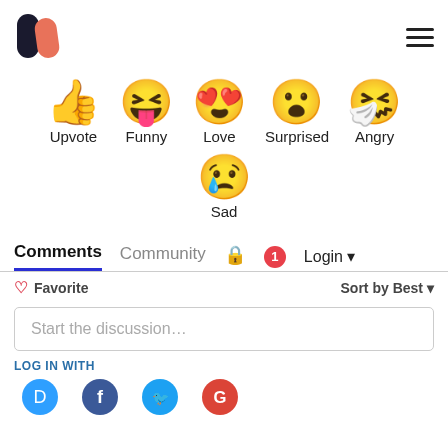[Figure (logo): Medium-like logo with two overlapping pill shapes, dark navy and coral/salmon color]
[Figure (infographic): Six reaction emojis: thumbs up (Upvote), laughing face (Funny), heart eyes (Love), surprised face (Surprised), sneezing/angry face (Angry), and sad crying face (Sad) with labels beneath each]
Comments | Community | [lock icon] | [1 notification badge] | Login ▾
♡ Favorite | Sort by Best ▾
Start the discussion…
LOG IN WITH
[Figure (infographic): Social login buttons: Disqus (blue), Facebook (blue), Twitter (teal), Google (red) - partially visible at bottom]